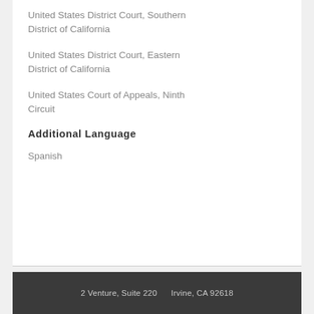United States District Court, Southern District of California
United States District Court, Eastern District of California
United States Court of Appeals, Ninth Circuit
Additional Language
Spanish
2 Venture, Suite 220   Irvine, CA 92618